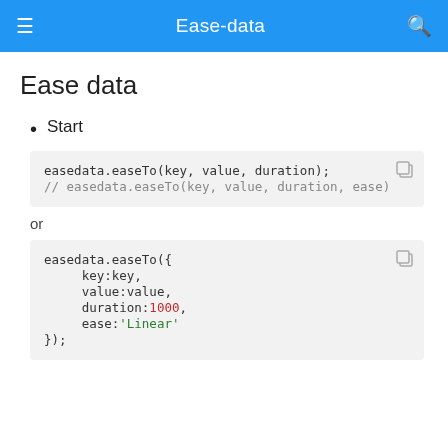Ease-data
Ease data
Start
easedata.easeTo(key, value, duration);
// easedata.easeTo(key, value, duration, ease)
or
easedata.easeTo({
    key:key,
    value:value,
    duration:1000,
    ease:'Linear'
});